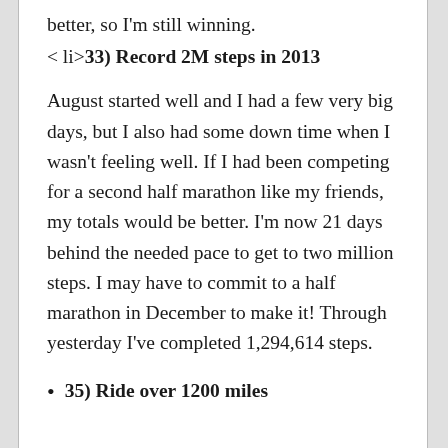better, so I'm still winning.
< li>33) Record 2M steps in 2013
August started well and I had a few very big days, but I also had some down time when I wasn't feeling well. If I had been competing for a second half marathon like my friends, my totals would be better. I'm now 21 days behind the needed pace to get to two million steps. I may have to commit to a half marathon in December to make it! Through yesterday I've completed 1,294,614 steps.
35) Ride over 1200 miles